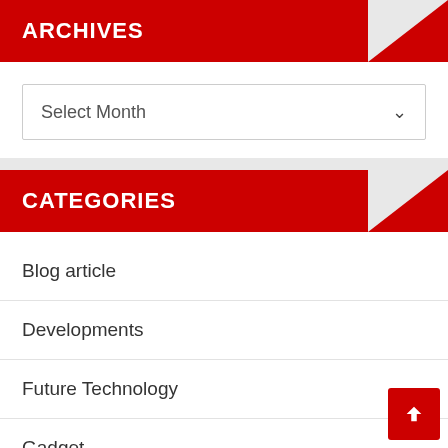ARCHIVES
Select Month
CATEGORIES
Blog article
Developments
Future Technology
Gadget
Information Technology